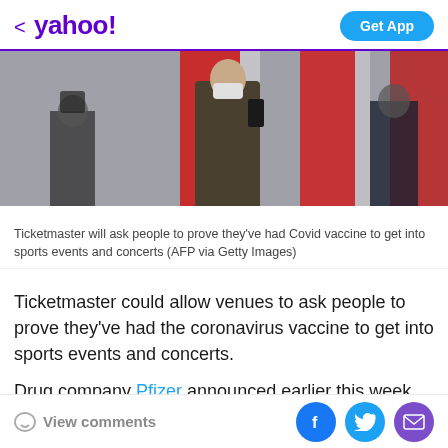< yahoo!  Get App
[Figure (photo): People in a public space, one person in the foreground wearing a face mask and holding a smartphone, with a red and white background (bus or building). Other people visible in the background.]
Ticketmaster will ask people to prove they've had Covid vaccine to get into sports events and concerts (AFP via Getty Images)
Ticketmaster could allow venues to ask people to prove they've had the coronavirus vaccine to get into sports events and concerts.
Drug company Pfizer announced earlier this week that early data shows their vaccine is 90 per cent effective
View comments